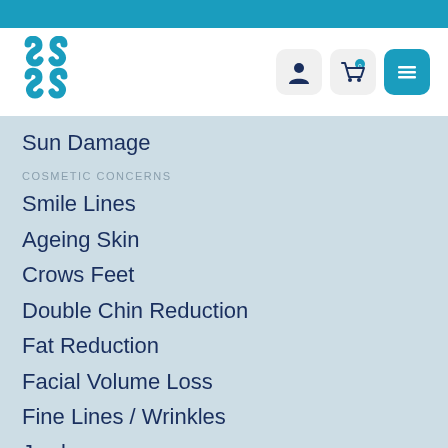[Figure (logo): Brand logo with four curved S-shaped elements in teal/blue]
Sun Damage
COSMETIC CONCERNS
Smile Lines
Ageing Skin
Crows Feet
Double Chin Reduction
Fat Reduction
Facial Volume Loss
Fine Lines / Wrinkles
Jowls
Thinning or Uneven Lips